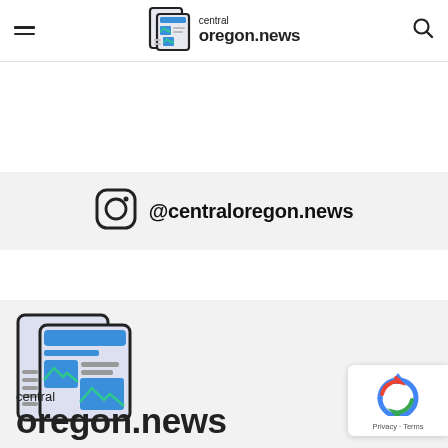central oregon.news
[Figure (illustration): Newspaper icon logo with blue and teal colors in the site header]
[Figure (logo): Instagram icon (circle with rounded square inside) followed by @centraloregon.news text]
@centraloregon.news
[Figure (illustration): Large newspaper icon logo with blue, teal/green colors]
central
oreon.news